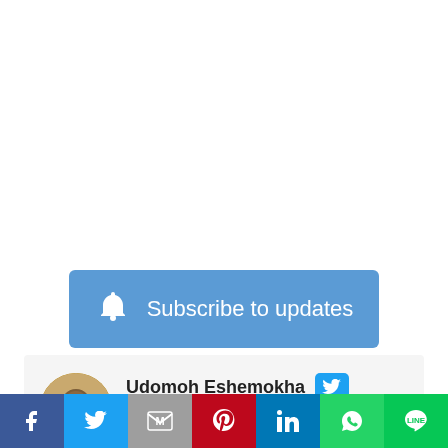[Figure (other): Subscribe to updates button with bell icon on blue background]
[Figure (other): Author card with circular avatar photo of Udomoh Eshemokha, Twitter button, and bio text]
Udomoh Eshemokha
I am a practicing medical doctor, a philosopher, critical thinker, a globalist, a patriot, SEO expert and a patient
[Figure (other): Social sharing bar with Facebook, Twitter, Gmail/Email, Pinterest, LinkedIn, WhatsApp, and LINE icons]